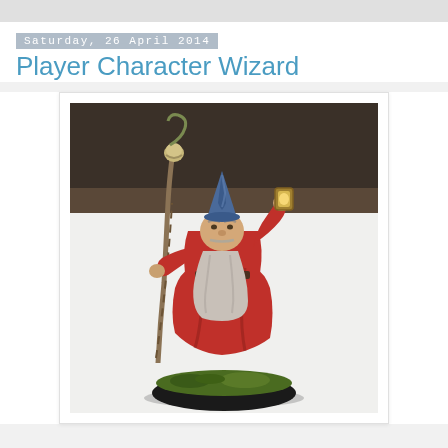Saturday, 26 April 2014
Player Character Wizard
[Figure (photo): A painted tabletop miniature figurine of a wizard. The wizard wears a tall blue pointed hat and a red robe, has a long grey beard, and carries a twisted staff with a skull/serpent topper in one hand and a lantern in the other. The miniature is mounted on a round black base decorated with green moss/flock. Background is white/light grey.]